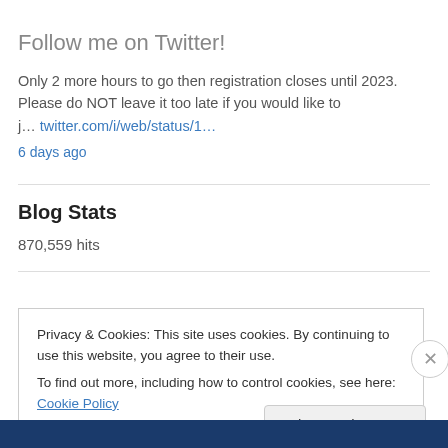Follow me on Twitter!
Only 2 more hours to go then registration closes until 2023. Please do NOT leave it too late if you would like to j… twitter.com/i/web/status/1…
6 days ago
Blog Stats
870,559 hits
Privacy & Cookies: This site uses cookies. By continuing to use this website, you agree to their use.
To find out more, including how to control cookies, see here: Cookie Policy
Close and accept